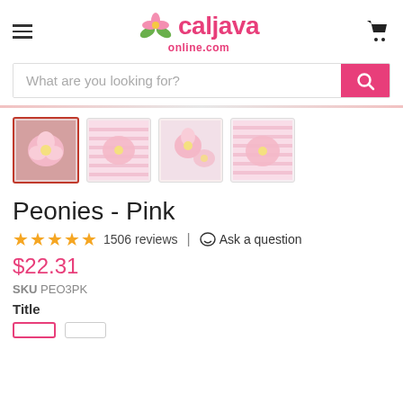caljavaonline.com
What are you looking for?
[Figure (photo): Four thumbnail images of pink peony flowers on striped and plain backgrounds]
Peonies - Pink
★★★★★ 1506 reviews | Ask a question
$22.31
SKU PEO3PK
Title